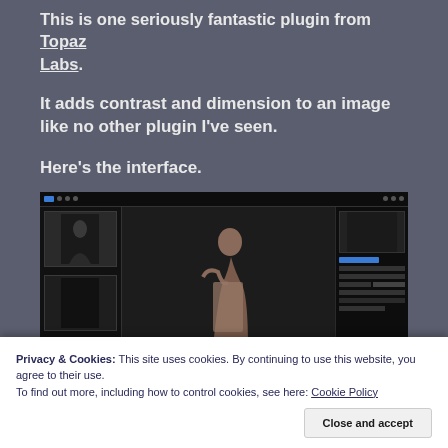This is one seriously fantastic plugin from Topaz Labs.
It adds contrast and dimension to an image like no other plugin I've seen.
Here's the interface.
[Figure (screenshot): Screenshot of the Topaz Labs plugin interface showing a dark photo editing application with a woman posing on the right panel, thumbnail previews on the left, and controls on the far right.]
Privacy & Cookies: This site uses cookies. By continuing to use this website, you agree to their use.
To find out more, including how to control cookies, see here: Cookie Policy
Close and accept